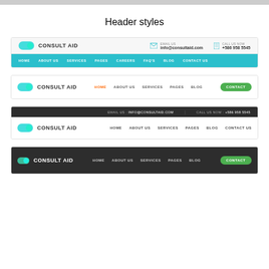Header styles
[Figure (screenshot): Header style 1: light background with top info bar showing email (info@consultaid.com) and phone (+586 958 5545), teal navigation bar with HOME, ABOUT US, SERVICES, PAGES, CAREERS, FAQ'S, BLOG, CONTACT US links, and CONSULT AID logo with toggle icon]
[Figure (screenshot): Header style 2: white background navigation bar with CONSULT AID logo, nav links HOME (orange/active), ABOUT US, SERVICES, PAGES, BLOG, and green CONTACT button]
[Figure (screenshot): Header style 3: dark top bar with EMAIL US info@consultaid.com and CALL US NOW +586 958 5545, white nav bar with CONSULT AID logo and links HOME, ABOUT US, SERVICES, PAGES, BLOG, CONTACT US]
[Figure (screenshot): Header style 4: dark one-bar with CONSULT AID logo, nav links HOME, ABOUT US, SERVICES, PAGES, BLOG, and green CONTACT button on dark background]